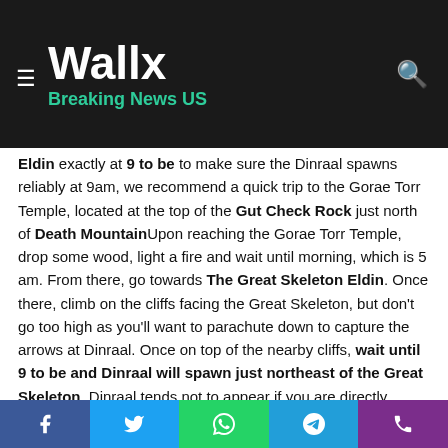Wallx Breaking News US
Eldin exactly at 9 to be to make sure the Dinraal spawns reliably at 9am, we recommend a quick trip to the Gorae Torr Temple, located at the top of the Gut Check Rock just north of Death MountainUpon reaching the Gorae Torr Temple, drop some wood, light a fire and wait until morning, which is 5 am. From there, go towards The Great Skeleton Eldin. Once there, climb on the cliffs facing the Great Skeleton, but don't go too high as you'll want to parachute down to capture the arrows at Dinraal. Once on top of the nearby cliffs, wait until 9 to be and Dinraal will spawn just northeast of the Great Skeleton. Dinraal tends not to appear if you are directly above its flight path, just above the Great Skeleton. So if you are on the cliffs, it will appear. From there, you can farm Dinraal's
Facebook Twitter WhatsApp Telegram Phone